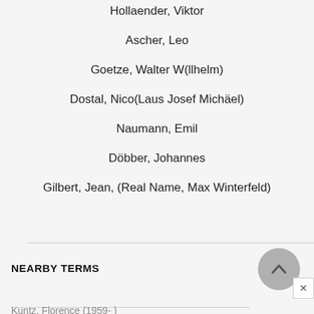Hollaender, Viktor
Ascher, Leo
Goetze, Walter W(llhelm)
Dostal, Nico(Laus Josef Michäel)
Naumann, Emil
Döbber, Johannes
Gilbert, Jean, (Real Name, Max Winterfeld)
NEARBY TERMS
Kuntz, Florence (1959- )